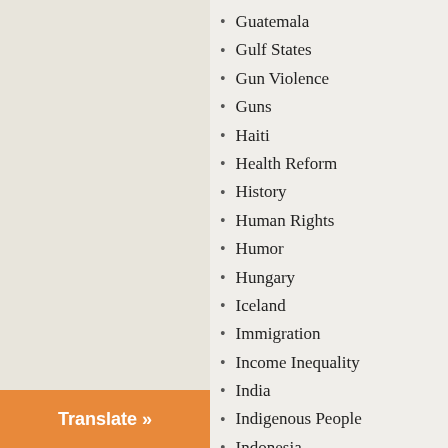Guatemala
Gulf States
Gun Violence
Guns
Haiti
Health Reform
History
Human Rights
Humor
Hungary
Iceland
Immigration
Income Inequality
India
Indigenous People
Indonesia
Intelligence
International
International Criminal Court (ICC)